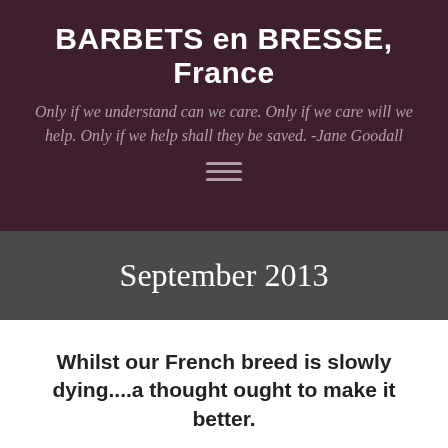BARBETS en BRESSE, France
Only if we understand can we care. Only if we care will we help. Only if we help shall they be saved. -Jane Goodall
September 2013
Whilst our French breed is slowly dying....a thought ought to make it better.
September 27, 2013   Rare breeds   Barbet chien,